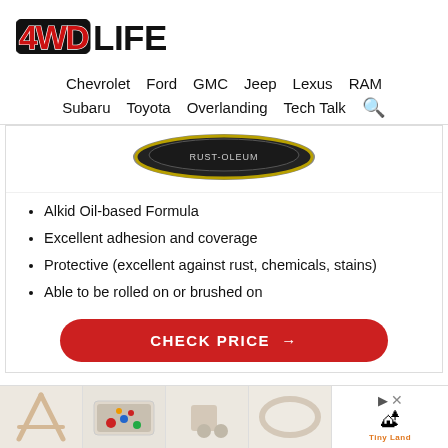[Figure (logo): 4WD LIFE logo in bold black and red lettering]
Chevrolet  Ford  GMC  Jeep  Lexus  RAM  Subaru  Toyota  Overlanding  Tech Talk
[Figure (photo): Product image of a round can/tin with dark label, viewed from above]
Alkid Oil-based Formula
Excellent adhesion and coverage
Protective (excellent against rust, chemicals, stains)
Able to be rolled on or brushed on
CHECK PRICE →
[Figure (photo): Advertisement banner showing wooden toy products and Tiny Land brand logo]